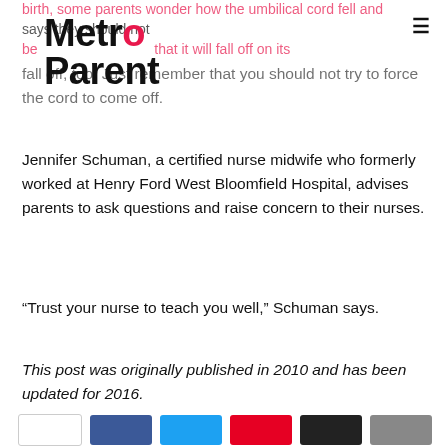Metro Parent
fall off, too. Just remember that you should not try to force the cord to come off.
Jennifer Schuman, a certified nurse midwife who formerly worked at Henry Ford West Bloomfield Hospital, advises parents to ask questions and raise concern to their nurses.
“Trust your nurse to teach you well,” Schuman says.
This post was originally published in 2010 and has been updated for 2016.